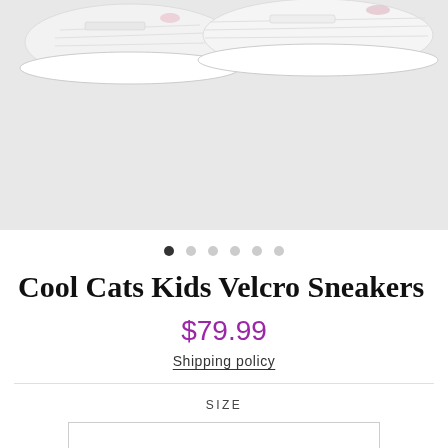[Figure (photo): Product photo showing two white kids sneakers (Cool Cats Kids Velcro Sneakers) photographed from above on a light gray background. The tops and soles of the shoes are visible.]
Cool Cats Kids Velcro Sneakers
$79.99
Shipping policy
SIZE